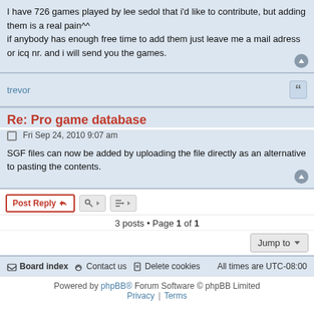I have 726 games played by lee sedol that i'd like to contribute, but adding them is a real pain^^
if anybody has enough free time to add them just leave me a mail adress or icq nr. and i will send you the games.
trevor
Re: Pro game database
Fri Sep 24, 2010 9:07 am
SGF files can now be added by uploading the file directly as an alternative to pasting the contents.
Post Reply  |  3 posts • Page 1 of 1
Board index  Contact us  Delete cookies  All times are UTC-08:00
Powered by phpBB® Forum Software © phpBB Limited
Privacy | Terms